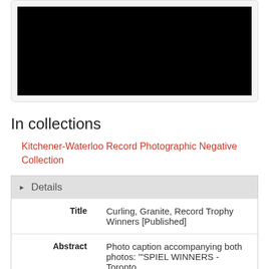[Figure (photo): Black photograph/negative image, fully black rectangle displayed in a light gray rounded container]
In collections
Kitchener-Waterloo Record Photographic Negative Collection
| Field | Value |
| --- | --- |
| Title | Curling, Granite, Record Trophy Winners [Published] |
| Abstract | Photo caption accompanying both photos: '"SPIEL WINNERS - Toronto |